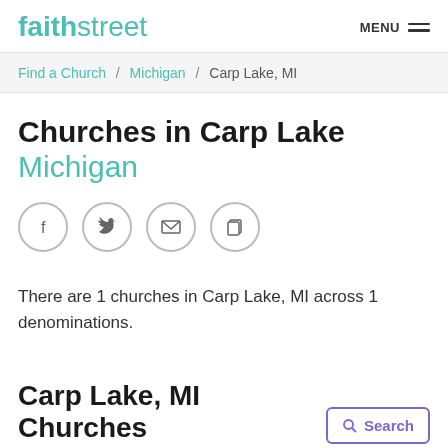faithstreet  MENU
Find a Church / Michigan / Carp Lake, MI
Churches in Carp Lake Michigan
[Figure (infographic): Four social sharing icon buttons in circles: Facebook (f), Twitter (bird), Email (envelope), Copy (document icon)]
There are 1 churches in Carp Lake, MI across 1 denominations.
Carp Lake, MI Churches
Search